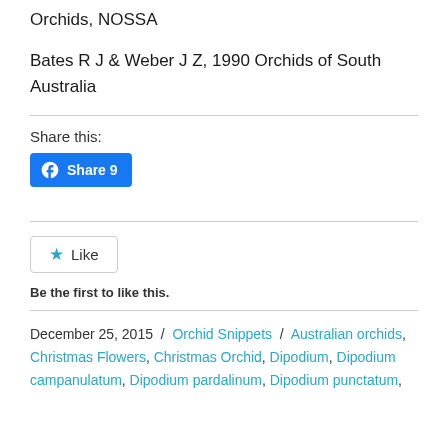Orchids, NOSSA
Bates R J & Weber J Z, 1990 Orchids of South Australia
Share this:
[Figure (other): Facebook Share button with count 9]
[Figure (other): Like button widget]
Be the first to like this.
December 25, 2015 / Orchid Snippets / Australian orchids, Christmas Flowers, Christmas Orchid, Dipodium, Dipodium campanulatum, Dipodium pardalinum, Dipodium punctatum,